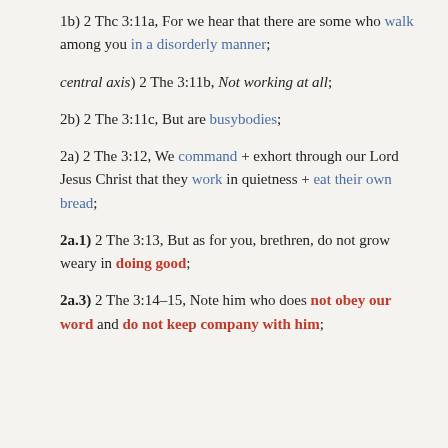1b) 2 Thc 3:11a, For we hear that there are some who walk among you in a disorderly manner;
central axis) 2 The 3:11b, Not working at all;
2b) 2 The 3:11c, But are busybodies;
2a) 2 The 3:12, We command + exhort through our Lord Jesus Christ that they work in quietness + eat their own bread;
2a.1) 2 The 3:13, But as for you, brethren, do not grow weary in doing good;
2a.3) 2 The 3:14-15, Note him who does not obey our word and do not keep company with him;